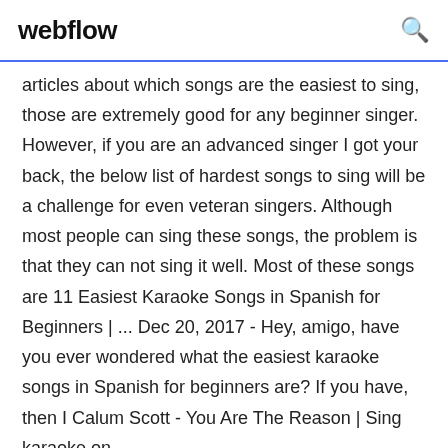webflow
articles about which songs are the easiest to sing, those are extremely good for any beginner singer. However, if you are an advanced singer I got your back, the below list of hardest songs to sing will be a challenge for even veteran singers. Although most people can sing these songs, the problem is that they can not sing it well. Most of these songs are 11 Easiest Karaoke Songs in Spanish for Beginners | ... Dec 20, 2017 - Hey, amigo, have you ever wondered what the easiest karaoke songs in Spanish for beginners are? If you have, then I Calum Scott - You Are The Reason | Sing karaoke on ...